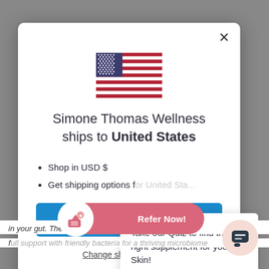[Figure (screenshot): Screenshot of a website modal dialog from Simone Thomas Wellness showing shipping country selection for United States, with a US flag icon, bullet points about USD and shipping options, a blue action button, and a 'Change shipping country' link. A second popup overlays part of the modal asking users to take a quiz to find the right supplement for their skin. At the bottom of the page are a 'Refer Now!' button and a chat widget.]
Simone Thomas Wellness ships to United States
Shop in USD $
Get shipping options for United States
Take our Quiz to find the right supplement for your Skin!
Change shipping country
Refer Now!
in your gut. Therefore, it's very important to prioritise
f ll i t ith f i dl b t i f b i d i ti